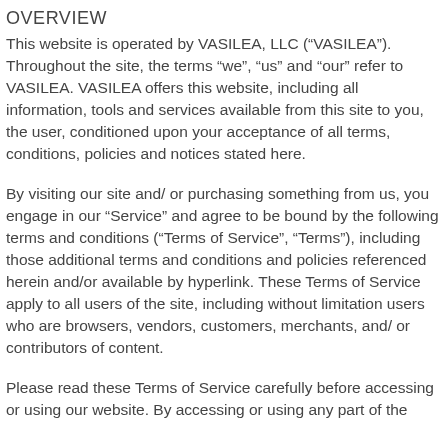OVERVIEW
This website is operated by VASILEA, LLC (“VASILEA”). Throughout the site, the terms “we”, “us” and “our” refer to VASILEA. VASILEA offers this website, including all information, tools and services available from this site to you, the user, conditioned upon your acceptance of all terms, conditions, policies and notices stated here.
By visiting our site and/ or purchasing something from us, you engage in our “Service” and agree to be bound by the following terms and conditions (“Terms of Service”, “Terms”), including those additional terms and conditions and policies referenced herein and/or available by hyperlink. These Terms of Service apply to all users of the site, including without limitation users who are browsers, vendors, customers, merchants, and/ or contributors of content.
Please read these Terms of Service carefully before accessing or using our website. By accessing or using any part of the